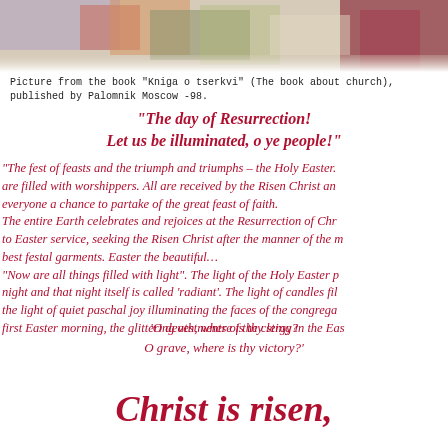[Figure (illustration): Top portion of a colorful illustrated image, partially cropped at top of page]
Picture from the book "Kniga o tserkvi" (The book about church), published by Palomnik Moscow -98.
“The day of Resurrection! Let us be illuminated, o ye people!”
“The fest of feasts and the triumph and triumphs – the Holy Easter. are filled with worshippers. All are received by the Risen Christ an everyone a chance to partake of the great feast of faith. The entire Earth celebrates and rejoices at the Resurrection of Chr to Easter service, seeking the Risen Christ after the manner of the m best festal garments. Easter the beautiful… “Now are all things filled with light”. The light of the Holy Easter p night and that night itself is called ‘radiant’. The light of candles fil the light of quiet paschal joy illuminating the faces of the congrega first Easter morning, the glittering vestments of the clergy in the Eas
'O death, where is thy sting? O grave, where is thy victory?'
Christ is risen,